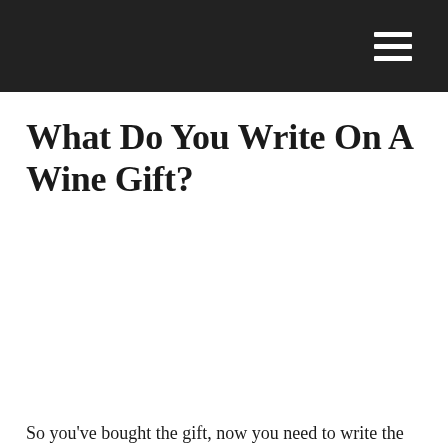What Do You Write On A Wine Gift?
So you've bought the gift, now you need to write the